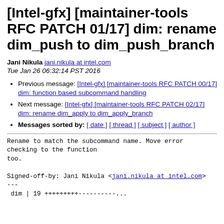[Intel-gfx] [maintainer-tools RFC PATCH 01/17] dim: rename dim_push to dim_push_branch
Jani Nikula jani.nikula at intel.com
Tue Jan 26 06:32:14 PST 2016
Previous message: [Intel-gfx] [maintainer-tools RFC PATCH 00/17] dim: function based subcommand handling
Next message: [Intel-gfx] [maintainer-tools RFC PATCH 02/17] dim: rename dim_apply to dim_apply_branch
Messages sorted by: [ date ] [ thread ] [ subject ] [ author ]
Rename to match the subcommand name. Move error checking to the function too.

Signed-off-by: Jani Nikula <jani.nikula at intel.com>
---
 dim | 19 +++++++++---------...